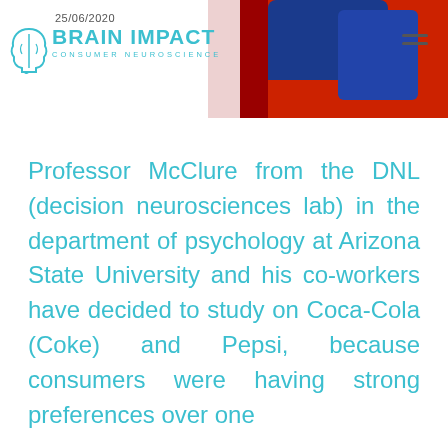25/06/2020 BRAIN IMPACT CONSUMER NEUROSCIENCE
Professor McClure from the DNL (decision neurosciences lab) in the department of psychology at Arizona State University and his co-workers have decided to study on Coca-Cola (Coke) and Pepsi, because consumers were having strong preferences over one